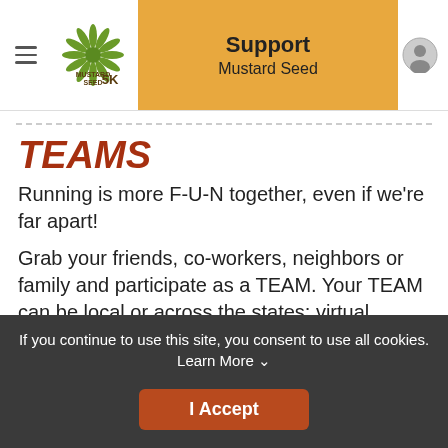Support Mustard Seed
TEAMS
Running is more F-U-N together, even if we're far apart!
Grab your friends, co-workers, neighbors or family and participate as a TEAM.  Your TEAM can be local or across the states; virtual participants will have their shirts shipped!  Teams of 5 or more receive discounts off their registration discount
If you continue to use this site, you consent to use all cookies. Learn More
I Accept